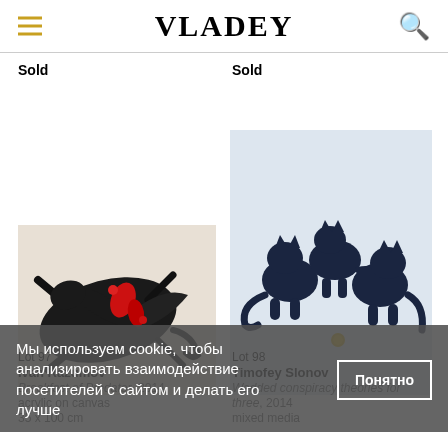VLADEY
Sold
Sold
[Figure (photo): Abstract painting of dark creature with red splashes, acrylic on canvas]
[Figure (photo): Sculpture of three dark blue cats playing, mixed media]
Lot 97
Ivan Razumov
Breakfast of Predator, 2014
acrylic on canvas
35 x 100 cm
Lot 98
Timofey Slonov
Wadded conspiracy theories for three, 2014
mixed media
Мы используем cookie, чтобы анализировать взаимодействие посетителей с сайтом и делать его лучше
Понятно